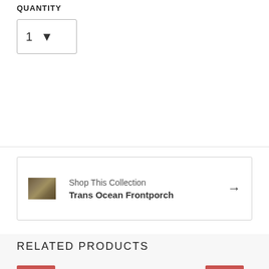QUANTITY
1
Shop This Collection
Trans Ocean Frontporch
RELATED PRODUCTS
SALE
SALE